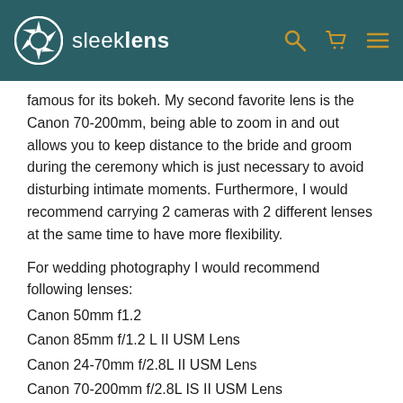sleeklens
famous for its bokeh. My second favorite lens is the Canon 70-200mm, being able to zoom in and out allows you to keep distance to the bride and groom during the ceremony which is just necessary to avoid disturbing intimate moments. Furthermore, I would recommend carrying 2 cameras with 2 different lenses at the same time to have more flexibility.
For wedding photography I would recommend following lenses:
Canon 50mm f1.2
Canon 85mm f/1.2 L II USM Lens
Canon 24-70mm f/2.8L II USM Lens
Canon 70-200mm f/2.8L IS II USM Lens
[Figure (photo): Blurred outdoor wedding photo showing a couple kissing among green foliage with orange/red bokeh elements]